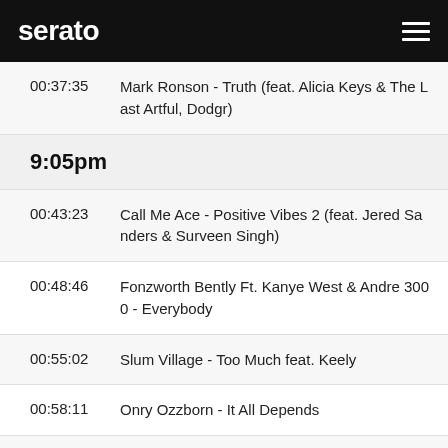serato
00:37:35   Mark Ronson - Truth (feat. Alicia Keys & The Last Artful, Dodgr)
9:05pm
00:43:23   Call Me Ace - Positive Vibes 2 (feat. Jered Sanders & Surveen Singh)
00:48:46   Fonzworth Bently Ft. Kanye West & Andre 3000 - Everybody
00:55:02   Slum Village - Too Much feat. Keely
00:58:11   Onry Ozzborn - It All Depends
01:01:19   Serge Severe - Chip Away feat. Mic Capes & Vinnie Dewayne